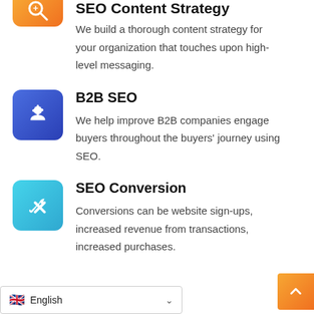SEO Content Strategy
We build a thorough content strategy for your organization that touches upon high-level messaging.
B2B SEO
We help improve B2B companies engage buyers throughout the buyers' journey using SEO.
SEO Conversion
Conversions can be website sign-ups, increased revenue from transactions, increased purchases.